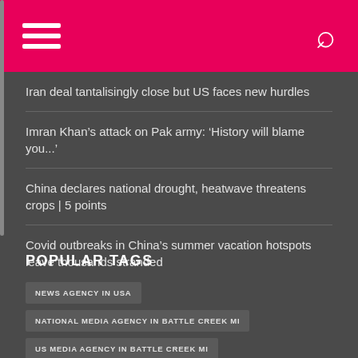Navigation header with hamburger menu and search icon
Iran deal tantalisingly close but US faces new hurdles
Imran Khan's attack on Pak army: 'History will blame you...'
China declares national drought, heatwave threatens crops | 5 points
Covid outbreaks in China's summer vacation hotspots leave thousands stranded
POPULAR TAGS
NEWS AGENCY IN USA
NATIONAL MEDIA AGENCY IN BATTLE CREEK MI
US MEDIA AGENCY IN BATTLE CREEK MI
PRESS AGENCY IN BATTLE CREEK MI
UNITED STATES PRESS AGENCY
BREAKING NEWS
WORLD NEWS
LATEST NEWS
NEWS AGENCY IN MICHIGAN
US NEWS AGENCY IN MI
NATIONAL MEDIA AGENCY IN MI